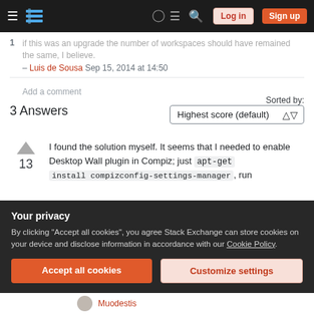Stack Exchange navigation bar with hamburger menu, logo, help, chat, search icons, Log in and Sign up buttons
1 if this was an upgrade the number of workspaces should have remained the same, I believe. – Luis de Sousa Sep 15, 2014 at 14:50
Add a comment
3 Answers
Sorted by: Highest score (default)
I found the solution myself. It seems that I needed to enable Desktop Wall plugin in Compiz; just apt-get install compizconfig-settings-manager, run
Your privacy
By clicking "Accept all cookies", you agree Stack Exchange can store cookies on your device and disclose information in accordance with our Cookie Policy.
Accept all cookies  Customize settings
Muodestis